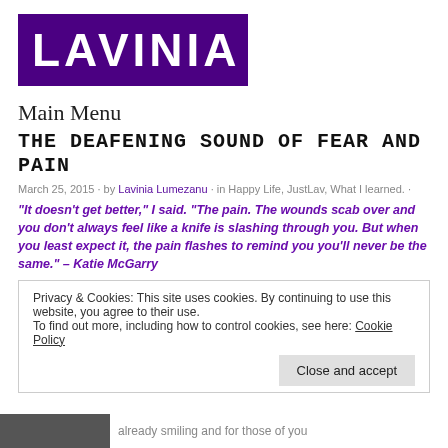[Figure (logo): Lavinia blog logo - white stylized text on dark purple background]
Main Menu
THE DEAFENING SOUND OF FEAR AND PAIN
March 25, 2015 · by Lavinia Lumezanu · in Happy Life, JustLav, What I learned. ·
“It doesn’t get better,” I said. “The pain. The wounds scab over and you don’t always feel like a knife is slashing through you. But when you least expect it, the pain flashes to remind you you’ll never be the same.” – Katie McGarry
Privacy & Cookies: This site uses cookies. By continuing to use this website, you agree to their use.
To find out more, including how to control cookies, see here: Cookie Policy
Close and accept
already smiling and for those of you